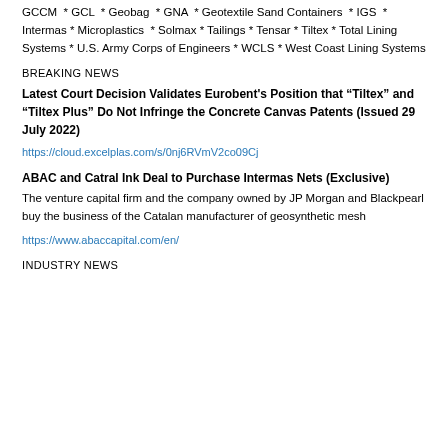GCCM * GCL * Geobag * GNA * Geotextile Sand Containers * IGS * Intermas * Microplastics * Solmax * Tailings * Tensar * Tiltex * Total Lining Systems * U.S. Army Corps of Engineers * WCLS * West Coast Lining Systems
BREAKING NEWS
Latest Court Decision Validates Eurobent's Position that “Tiltex” and “Tiltex Plus” Do Not Infringe the Concrete Canvas Patents (Issued 29 July 2022)
https://cloud.excelplas.com/s/0nj6RVmV2co09Cj
ABAC and Catral Ink Deal to Purchase Intermas Nets (Exclusive)
The venture capital firm and the company owned by JP Morgan and Blackpearl buy the business of the Catalan manufacturer of geosynthetic mesh
https://www.abaccapital.com/en/
INDUSTRY NEWS